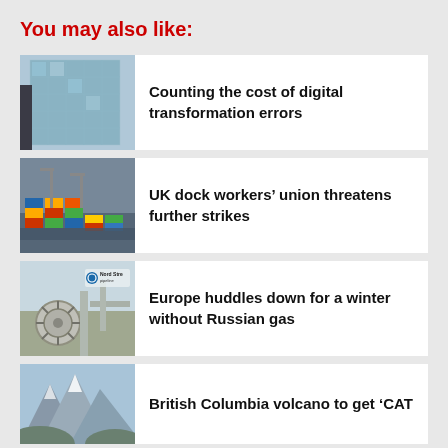You may also like:
[Figure (photo): Glass-facade modern office building exterior]
Counting the cost of digital transformation errors
[Figure (photo): Aerial view of a busy container port with colorful shipping containers]
UK dock workers’ union threatens further strikes
[Figure (photo): Industrial gas pipeline equipment with Nord Stream sign]
Europe huddles down for a winter without Russian gas
[Figure (photo): Mountain range with snowy peaks under blue sky]
British Columbia volcano to get ‘CAT